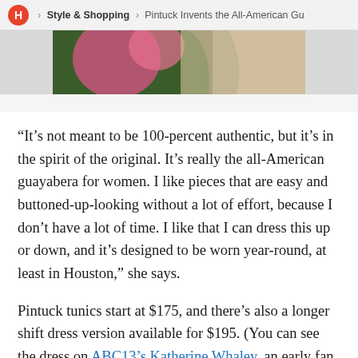H > Style & Shopping > Pintuck Invents the All-American Gu
[Figure (photo): Partial photo of a woman with long blonde hair wearing a floral patterned top, cropped at the top of the page.]
“It’s not meant to be 100-percent authentic, but it’s in the spirit of the original. It’s really the all-American guayabera for women. I like pieces that are easy and buttoned-up-looking without a lot of effort, because I don’t have a lot of time. I like that I can dress this up or down, and it’s designed to be worn year-round, at least in Houston,” she says.
Pintuck tunics start at $175, and there’s also a longer shift dress version available for $195. (You can see the dress on ABC13’s Katherine Whaley, an early fan of the brand.) Pintuck tunics are available on the brand’s website, at both Bering’s locations and at